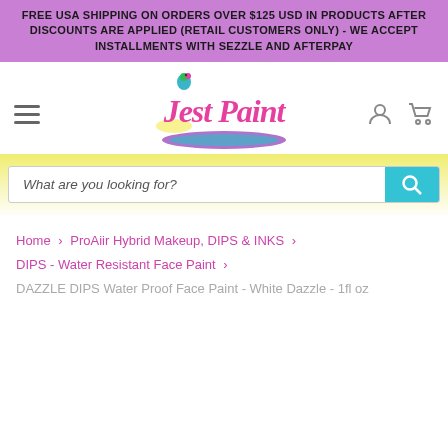FREE USA SHIPPING ON ORDERS OVER $125 USD IN PRODUCTS AFTER DISCOUNTS ARE APPLIED (RETAIL CUSTOMERS ONLY) - WE ACCEPT INSTALLMENTS WITH SEZZLE AND AFTERPAY
[Figure (logo): Jest Paint logo - stylized script text with a parrot and colorful brush stroke underneath]
What are you looking for?
Home > ProAiir Hybrid Makeup, DIPS & INKS > DIPS - Water Resistant Face Paint > DAZZLE DIPS Water Proof Face Paint - White Dazzle - 1fl oz